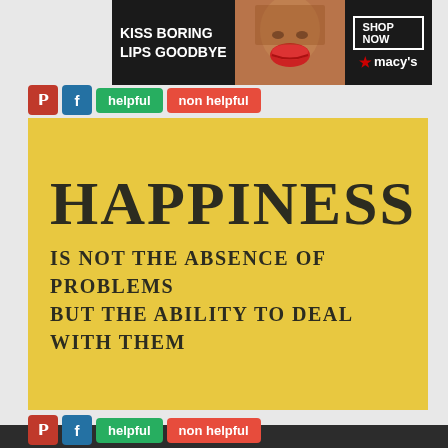[Figure (illustration): Macy's advertisement banner: 'KISS BORING LIPS GOODBYE' with woman photo and 'SHOP NOW ★macys' button on dark background]
[Figure (illustration): Social sharing buttons: Pinterest (red P), Facebook (blue f), green 'helpful' button, red 'non helpful' button]
[Figure (other): Yellow motivational quote image: 'HAPPINESS IS NOT THE ABSENCE OF PROBLEMS BUT THE ABILITY TO DEAL WITH THEM' in dark serif bold text on yellow/golden background]
[Figure (illustration): Social sharing buttons at bottom: Pinterest (red P), Facebook (blue f), green 'helpful' button, red 'non helpful' button]